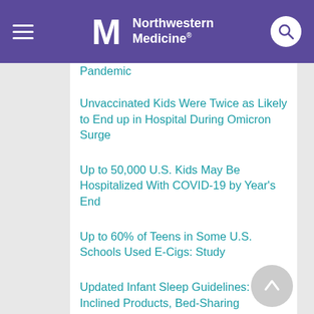Northwestern Medicine
Pandemic
Unvaccinated Kids Were Twice as Likely to End up in Hospital During Omicron Surge
Up to 50,000 U.S. Kids May Be Hospitalized With COVID-19 by Year's End
Up to 60% of Teens in Some U.S. Schools Used E-Cigs: Study
Updated Infant Sleep Guidelines: No Inclined Products, Bed-Sharing
Urban Air Pollution Drives Millions of Cases of Asthma in Kids
Uterine Cancer Rates Have Been Rising, and New Study Suggests Why
VA Study Shows Black Men Twice as Likely to